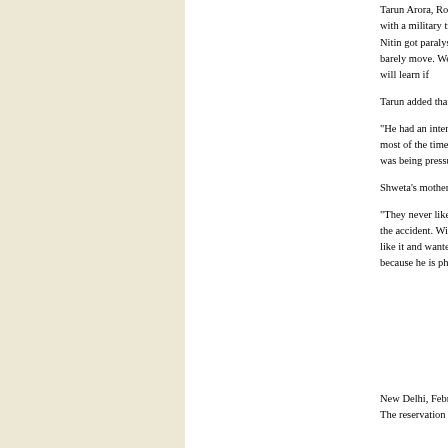Tarun Arora, Rohit's friend and a close acquaintance, an accident with a military truck at Delhi Cantt. He cord was ruptured and Nitin got paralysed from be He can use his hands, but can barely move. We we the post-mortem report is released, we will learn if
Tarun added that Nitin was depressed because of h
"He had an interior designing shop in South-Exten bedridden most of the time. A few months ago, Sh unhappy that his wife was being pressurised by her
Shweta's mother Nirmala blamed Nitin's family fo
"They never liked Shweta and often abused her. Ni court after the accident. With the money, he had ma his family did not like it and wanted the money. Th take the blame on himself because he is physically them," said Nirmala.
Quota-hit councillo
Him Tribune
New Delhi, February 3
The reservation and re-orientation of several MCD